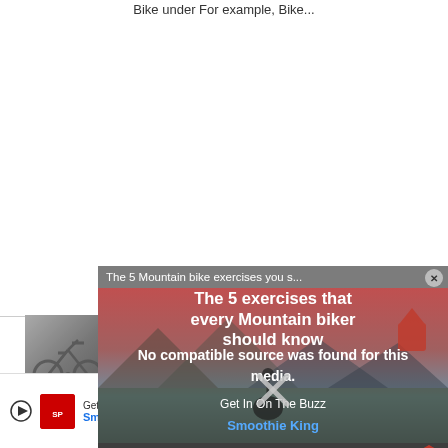Bike under For example, Bike...
[Figure (photo): Thumbnail image of a gravel/cyclocross bicycle outdoors]
Gravel Bikes
Gravel Bikes vs Cyclocross Bikes
For some years, there are recurring debates
[Figure (screenshot): Video player overlay showing 'The 5 Mountain bike exercises you s...' with 'No compatible source was found for this media.' message and overlay text 'The 5 exercises that every Mountain biker should know', 'Get In On The Buzz', 'Smoothie King' with a close X button]
[Figure (other): Advertisement bar at bottom with play icon, Sports logo, Get In On The Buzz text, Smoothie King link]